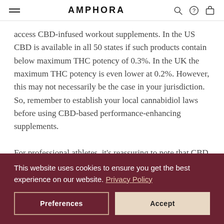AMPHORA
access CBD-infused workout supplements. In the US CBD is available in all 50 states if such products contain below maximum THC potency of 0.3%. In the UK the maximum THC potency is even lower at 0.2%. However, this may not necessarily be the case in your jurisdiction. So, remember to establish your local cannabidiol laws before using CBD-based performance-enhancing supplements.
For professional athletes, it's reassuring to note that CBD doesn't appear in the world anti-doping agency
This website uses cookies to ensure you get the best experience on our website. Privacy Policy
Preferences | Accept